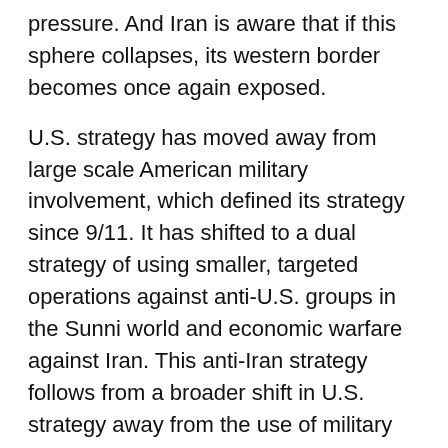pressure. And Iran is aware that if this sphere collapses, its western border becomes once again exposed.
U.S. strategy has moved away from large scale American military involvement, which defined its strategy since 9/11. It has shifted to a dual strategy of using smaller, targeted operations against anti-U.S. groups in the Sunni world and economic warfare against Iran. This anti-Iran strategy follows from a broader shift in U.S. strategy away from the use of military power toward the use of economic power in places like China, Russia and Iran. The U.S. drive to end the Iran nuclear deal was less about fear of Iranian nuclear power and more about imposing a massive sanctions regime on the Iranian economy.